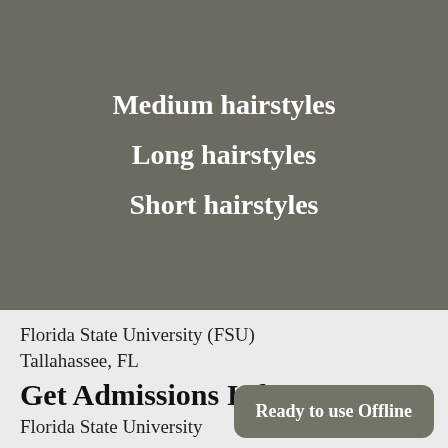Medium hairstyles
Long hairstyles
Short hairstyles
Florida State University (FSU)
Tallahassee, FL
Get Admissions Info
Florida State University
Navigate
Snapchat
Ready to use Offline